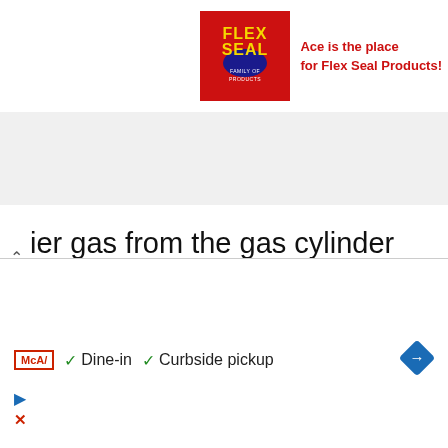[Figure (logo): Flex Seal Family of Products logo on red background with text 'Ace is the place for Flex Seal Products!']
ier gas from the gas cylinder directly. Since the temperature of both gases is the same, the thermal conduction is constant.
Thermal conductivity detector
[Figure (engineering-diagram): Schematic symbol for a thermal conductivity detector showing a circle with an upward arrow in the center, connected to two horizontal lines on each side, with vertical lines above and below each connection point.]
[Figure (other): Advertisement overlay showing McA badge, Dine-in, Curbside pickup, navigation arrow, play button, and close button.]